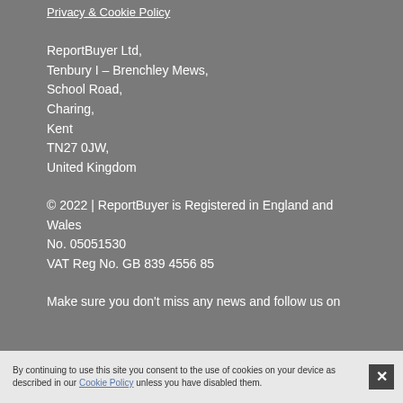Privacy & Cookie Policy
ReportBuyer Ltd,
Tenbury I – Brenchley Mews,
School Road,
Charing,
Kent
TN27 0JW,
United Kingdom
© 2022 | ReportBuyer is Registered in England and Wales
No. 05051530
VAT Reg No. GB 839 4556 85
Make sure you don't miss any news and follow us on
By continuing to use this site you consent to the use of cookies on your device as described in our Cookie Policy unless you have disabled them.